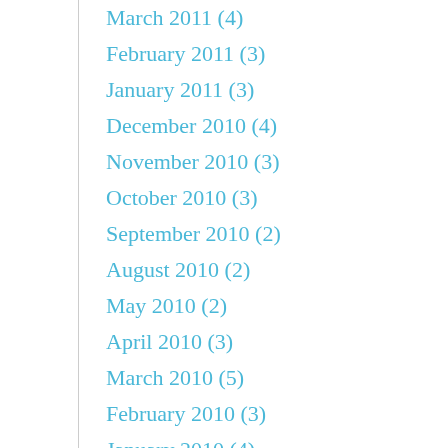March 2011 (4)
February 2011 (3)
January 2011 (3)
December 2010 (4)
November 2010 (3)
October 2010 (3)
September 2010 (2)
August 2010 (2)
May 2010 (2)
April 2010 (3)
March 2010 (5)
February 2010 (3)
January 2010 (4)
December 2009 (5)
November 2009 (5)
October 2009 (7)
September 2009 (10)